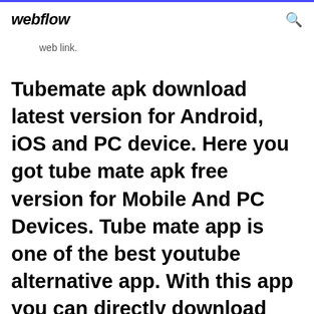webflow
web link.
Tubemate apk download latest version for Android, iOS and PC device. Here you got tube mate apk free version for Mobile And PC Devices. Tube mate app is one of the best youtube alternative app. With this app you can directly download Any video with single click as per your selected video resolution.